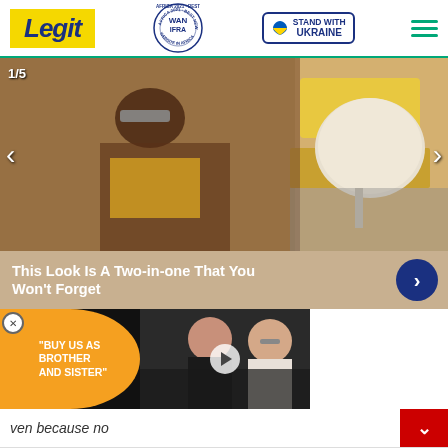Legit — Stand With Ukraine — WAN-IFRA 2021 Best News Website in Africa
[Figure (photo): Fashion photo slider showing woman in yellow top and futuristic sunglasses lounging outdoors near white round table. Counter shows 1/5. Left and right navigation arrows visible.]
This Look Is A Two-in-one That You Won't Forget
[Figure (photo): Video ad overlay: orange bubble quote saying 'BUY US AS BROTHER AND SISTER' on the left, and a man and woman photo on the right with a play button in center.]
ven because no
[Figure (photo): Banner ad: Help Protect Ukrainian Families with DONATE NOW button and Ukrainian heart flag icon. Close X button in top right.]